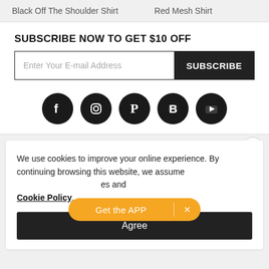Black Off The Shoulder Shirt   Red Mesh Shirt
SUBSCRIBE NOW TO GET $10 OFF
[Figure (screenshot): Email subscription input field with placeholder 'Enter Your E-mail Address' and a black SUBSCRIBE button]
[Figure (infographic): Five social media icons (Facebook, Instagram, Pinterest, Blogger, YouTube) in black circles]
We use cookies to improve your online experience. By continuing browsing this website, we assume [Get the APP] [x] es and Cookie Policy.
Agree